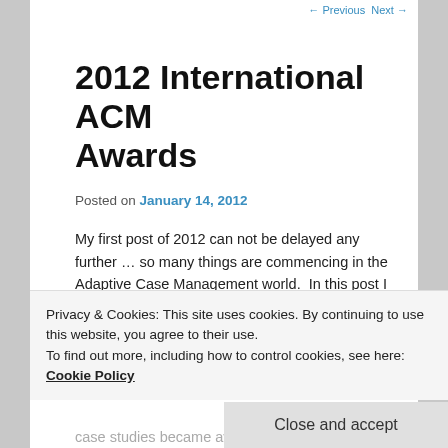← Previous  Next →
2012 International ACM Awards
Posted on January 14, 2012
My first post of 2012 can not be delayed any further … so many things are commencing in the Adaptive Case Management world.  In this post I will cover the first of three important upcoming event you might want to plan for: the 2nd Annual Adaptive Case Management Awards.
Privacy & Cookies: This site uses cookies. By continuing to use this website, you agree to their use.
To find out more, including how to control cookies, see here: Cookie Policy
Close and accept
case studies became available to everyone in the form of